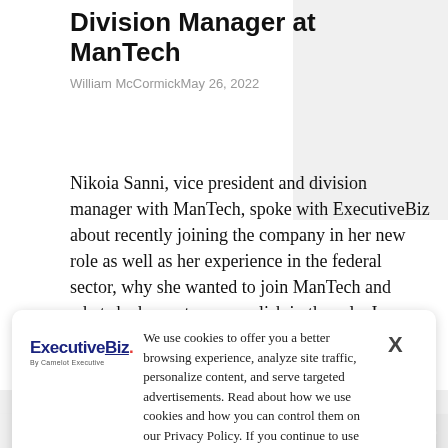Division Manager at ManTech
William McCormickMay 26, 2022
Nikoia Sanni, vice president and division manager with ManTech, spoke with ExecutiveBiz about recently joining the company in her new role as well as her experience in the federal sector, why she wanted to join ManTech and what she hopes to accomplish in the role. In addition, Nikoia Sanni also discussed the core values of the
[Figure (screenshot): Cookie consent popup with ExecutiveBiz logo, cookie policy text, and X close button]
Charles Lyons-BurtMay 16, 2022